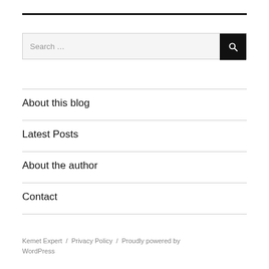[Figure (other): Top horizontal black border line]
Search …
About this blog
Latest Posts
About the author
Contact
Kemet Expert / Privacy Policy / Proudly powered by WordPress